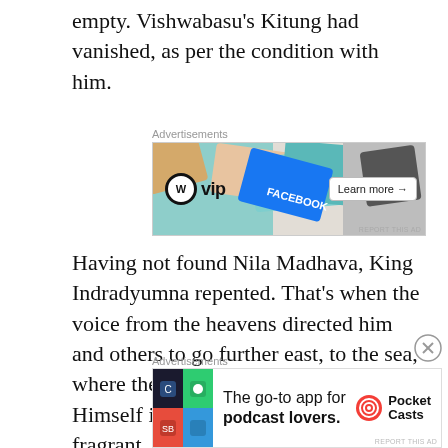empty. Vishwabasu's Kitung had vanished, as per the condition with him.
[Figure (other): WordPress VIP advertisement banner with colorful card graphics and Learn more button]
Having not found Nila Madhava, King Indradyumna repented. That's when the voice from the heavens directed him and others to go further east, to the sea, where the Lord would then manifest Himself in the form of a very large, fragrant, reddish log, and the signs of conch, disc, mace, and lotus can be found everywhere on it. They were instructed to take out log from the sea, and make four deities out
[Figure (other): Pocket Casts advertisement banner: The go-to app for podcast lovers.]